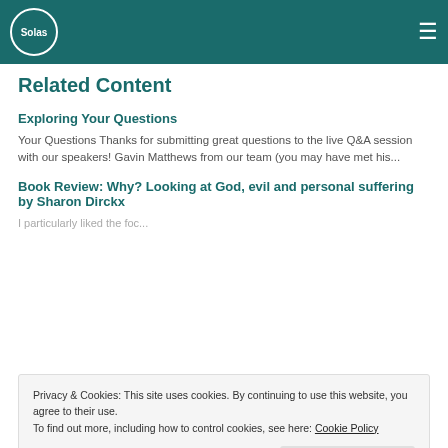Solas [logo] [menu icon]
Related Content
Exploring Your Questions
Your Questions Thanks for submitting great questions to the live Q&A session with our speakers! Gavin Matthews from our team (you may have met his...
Book Review: Why? Looking at God, evil and personal suffering by Sharon Dirckx
Privacy & Cookies: This site uses cookies. By continuing to use this website, you agree to their use.
To find out more, including how to control cookies, see here: Cookie Policy
Close and accept